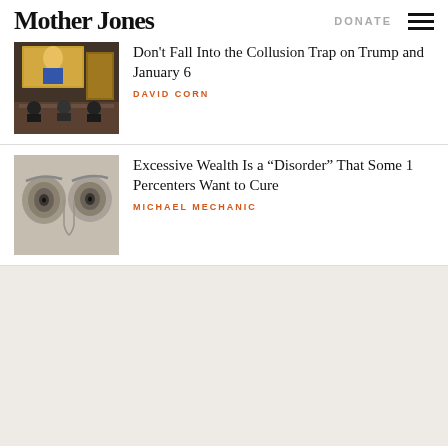Mother Jones | DONATE
[Figure (photo): Congressional hearing room with large screen showing Trump]
Don't Fall Into the Collusion Trap on Trump and January 6
DAVID CORN
[Figure (photo): Close-up of currency bill showing eyes detail in grayscale]
Excessive Wealth Is a “Disorder” That Some 1 Percenters Want to Cure
MICHAEL MECHANIC